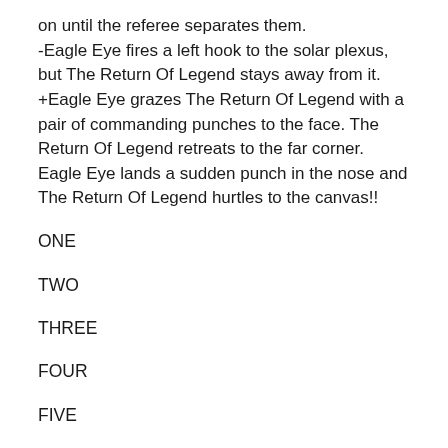on until the referee separates them.
-Eagle Eye fires a left hook to the solar plexus, but The Return Of Legend stays away from it.
+Eagle Eye grazes The Return Of Legend with a pair of commanding punches to the face. The Return Of Legend retreats to the far corner.
Eagle Eye lands a sudden punch in the nose and The Return Of Legend hurtles to the canvas!!
ONE
TWO
THREE
FOUR
FIVE